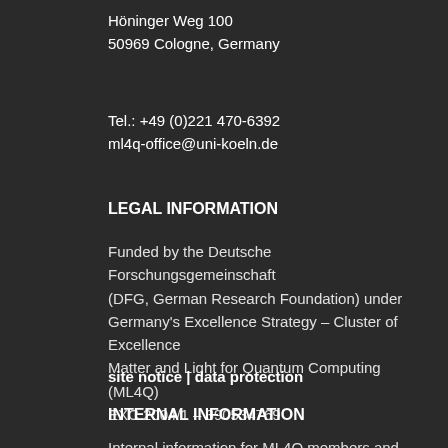Höninger Weg 100
50969 Cologne, Germany
Tel.: +49 (0)221 470-6392
ml4q-office@uni-koeln.de
LEGAL INFORMATION
Funded by the Deutsche Forschungsgemeinschaft (DFG, German Research Foundation) under Germany's Excellence Strategy – Cluster of Excellence Matter and Light for Quantum Computing (ML4Q) EXC 2004/1 – 390534769
site notice | data protection
INTERNAL INFORMATION
Internal information for ML4Q members and